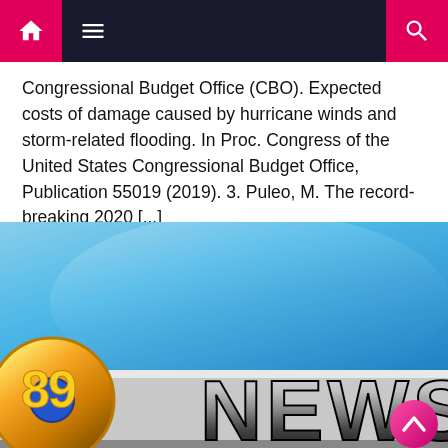Navigation bar with home, menu, and search icons
Congressional Budget Office (CBO). Expected costs of damage caused by hurricane winds and storm-related flooding. In Proc. Congress of the United States Congressional Budget Office, Publication 55019 (2019). 3. Puleo, M. The record-breaking 2020 [...]
[Figure (photo): A news broadcast studio graphic showing '89 NEWS' logo with a large blue gradient background. The number 89 appears in a yellow/gold globe-style logo on the left, and 'NEWS' appears in large 3D metallic dark letters on the right. A pink circular scroll-up button appears in the bottom right corner.]